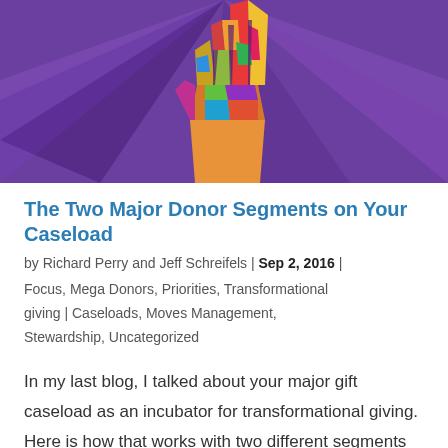[Figure (illustration): Colorful geometric/polygonal hand (pointing finger up) on a purple background with radiating light rays — decorative hero image for a blog post about major donor fundraising.]
The Two Major Donor Segments on Your Caseload
by Richard Perry and Jeff Schreifels | Sep 2, 2016 |
Focus, Mega Donors, Priorities, Transformational giving | Caseloads, Moves Management, Stewardship, Uncategorized
In my last blog, I talked about your major gift caseload as an incubator for transformational giving. Here is how that works with two different segments of your